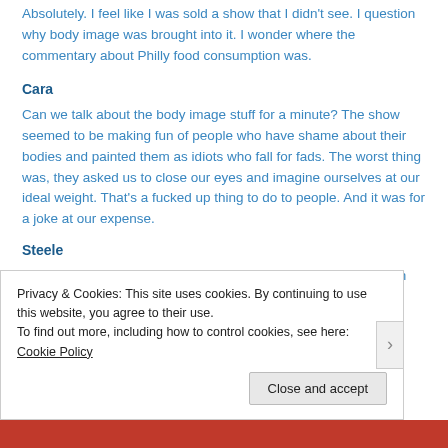Absolutely. I feel like I was sold a show that I didn't see. I question why body image was brought into it. I wonder where the commentary about Philly food consumption was.
Cara
Can we talk about the body image stuff for a minute? The show seemed to be making fun of people who have shame about their bodies and painted them as idiots who fall for fads. The worst thing was, they asked us to close our eyes and imagine ourselves at our ideal weight. That's a fucked up thing to do to people. And it was for a joke at our expense.
Steele
It's so highly offensive. It made fun of people. In the audience. In the world. It was a show about food that somehow made fun of people's food
Privacy & Cookies: This site uses cookies. By continuing to use this website, you agree to their use.
To find out more, including how to control cookies, see here: Cookie Policy
Close and accept